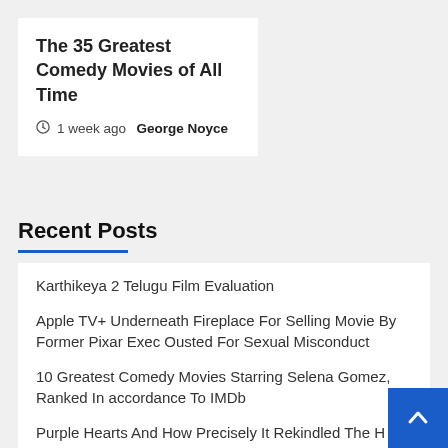The 35 Greatest Comedy Movies of All Time
1 week ago  George Noyce
Recent Posts
Karthikeya 2 Telugu Film Evaluation
Apple TV+ Underneath Fireplace For Selling Movie By Former Pixar Exec Ousted For Sexual Misconduct
10 Greatest Comedy Movies Starring Selena Gomez, Ranked In accordance To IMDb
Purple Hearts And How Precisely It Rekindled The H Of Romantic Dramas For The New Era